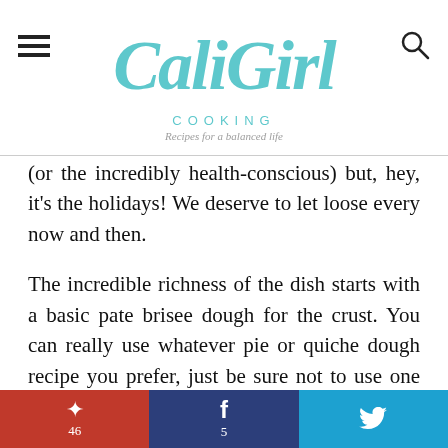CaliGirl COOKING — Recipes for a balanced life
(or the incredibly health-conscious) but, hey, it's the holidays! We deserve to let loose every now and then.
The incredible richness of the dish starts with a basic pate brisee dough for the crust. You can really use whatever pie or quiche dough recipe you prefer, just be sure not to use one that is heavily sweetened as we are making a completely savory dish. I turned to my good ol' Bouchon Bakery cookbook for my recipe
Pinterest 46 | Facebook 5 | Twitter